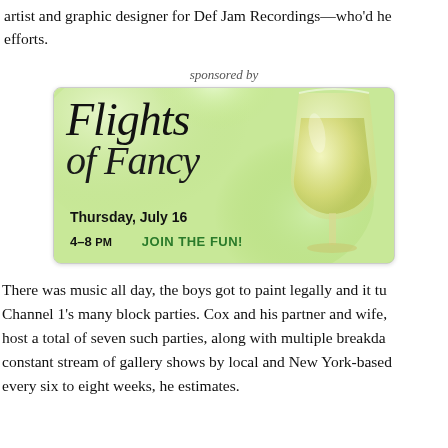artist and graphic designer for Def Jam Recordings—who'd helped with efforts.
sponsored by
[Figure (illustration): Advertisement for 'Flights of Fancy' event. Thursday, July 16, 4–8 PM. JOIN THE FUN! Features cursive script title and wine glass image on green gradient background.]
There was music all day, the boys got to paint legally and it turned into Channel 1's many block parties. Cox and his partner and wife, host a total of seven such parties, along with multiple breakdancing and a constant stream of gallery shows by local and New York-based artists every six to eight weeks, he estimates.